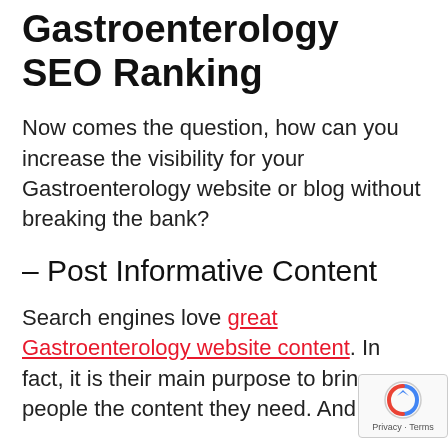Gastroenterology SEO Ranking
Now comes the question, how can you increase the visibility for your Gastroenterology website or blog without breaking the bank?
– Post Informative Content
Search engines love great Gastroenterology website content. In fact, it is their main purpose to bring people the content they need. And the